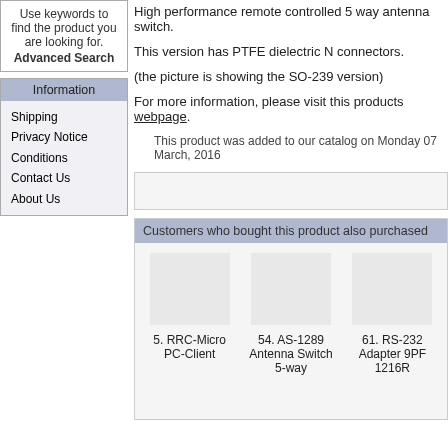Use keywords to find the product you are looking for. Advanced Search
Information
Shipping
Privacy Notice
Conditions
Contact Us
About Us
High performance remote controlled 5 way antenna switch.
This version has PTFE dielectric N connectors.
(the picture is showing the SO-239 version)
For more information, please visit this products webpage.
This product was added to our catalog on Monday 07 March, 2016
Customers who bought this product also purchased
5. RRC-Micro PC-Client
54. AS-1289 Antenna Switch 5-way
61. RS-232 Adapter 9PF 1216R